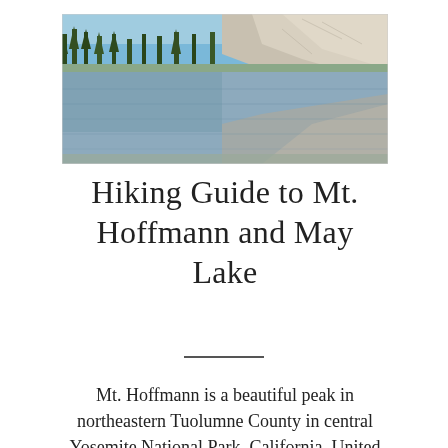[Figure (photo): A mountain lake reflecting granite peaks and conifer trees — likely May Lake in Yosemite National Park. The image shows calm water with a large granite cliff face in the background and pine trees along the shoreline.]
Hiking Guide to Mt. Hoffmann and May Lake
Mt. Hoffmann is a beautiful peak in northeastern Tuolumne County in central Yosemite National Park, California, United